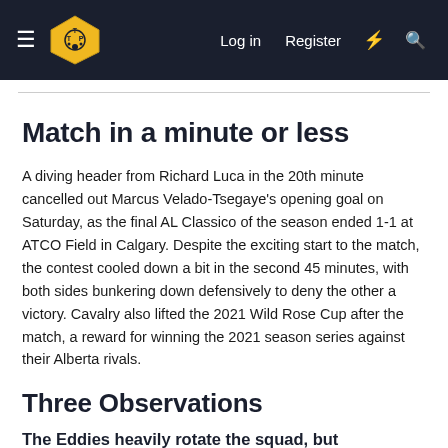TTP Logo | Log in | Register
Match in a minute or less
A diving header from Richard Luca in the 20th minute cancelled out Marcus Velado-Tsegaye's opening goal on Saturday, as the final AL Classico of the season ended 1-1 at ATCO Field in Calgary. Despite the exciting start to the match, the contest cooled down a bit in the second 45 minutes, with both sides bunkering down defensively to deny the other a victory. Cavalry also lifted the 2021 Wild Rose Cup after the match, a reward for winning the 2021 season series against their Alberta rivals.
Three Observations
The Eddies heavily rotate the squad, but